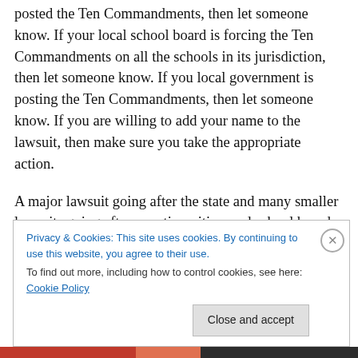posted the Ten Commandments, then let someone know. If your local school board is forcing the Ten Commandments on all the schools in its jurisdiction, then let someone know. If you local government is posting the Ten Commandments, then let someone know. If you are willing to add your name to the lawsuit, then make sure you take the appropriate action.
A major lawsuit going after the state and many smaller lawsuits going after counties, cities, and school boards will overwhelm the state's finances and legal resources.
Privacy & Cookies: This site uses cookies. By continuing to use this website, you agree to their use. To find out more, including how to control cookies, see here: Cookie Policy